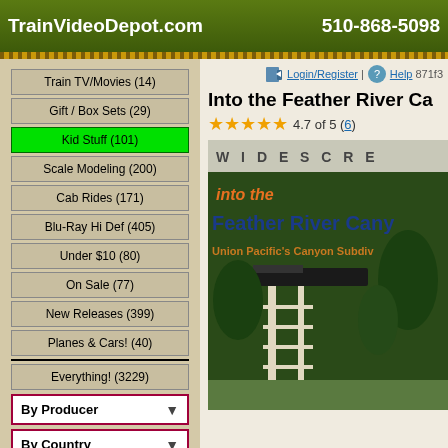TrainVideoDepot.com  510-868-5098
Train TV/Movies (14)
Gift / Box Sets (29)
Kid Stuff (101)
Scale Modeling (200)
Cab Rides (171)
Blu-Ray Hi Def (405)
Under $10 (80)
On Sale (77)
New Releases (399)
Planes & Cars! (40)
Everything! (3229)
By Producer
By Country
By State/Province
By Railroad
Title and Description Search
Login/Register | Help 871f3
Into the Feather River Ca
4.7 of 5 (6)
[Figure (photo): DVD cover for 'Into the Feather River Canyon' showing a train on a bridge in a forested canyon. Text reads: WIDESCRE, into the Feather River Cany, Union Pacific's Canyon Subdiv]